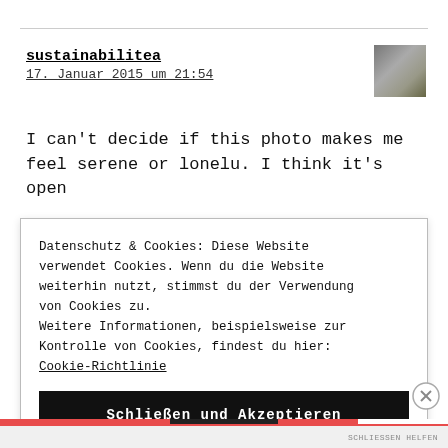sustainabilitea
17. Januar 2015 um 21:54
I can't decide if this photo makes me feel serene or lonelu. I think it's open
Datenschutz & Cookies: Diese Website verwendet Cookies. Wenn du die Website weiterhin nutzt, stimmst du der Verwendung von Cookies zu.
Weitere Informationen, beispielsweise zur Kontrolle von Cookies, findest du hier:
Cookie-Richtlinie
Schließen und Akzeptieren